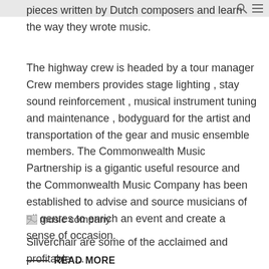pieces written by Dutch composers and learn the way they wrote music.
The highway crew is headed by a tour manager Crew members provides stage lighting , stay sound reinforcement , musical instrument tuning and maintenance , bodyguard for the artist and transportation of the gear and music ensemble members. The Commonwealth Music Partnership is a gigantic useful resource and the Commonwealth Music Company has been established to advise and source musicians of all genres to enrich an event and create a sense of occasion.
[Figure (illustration): Broken image placeholder with label 'music company']
Silverchair are some of the acclaimed and profitable …
READ MORE